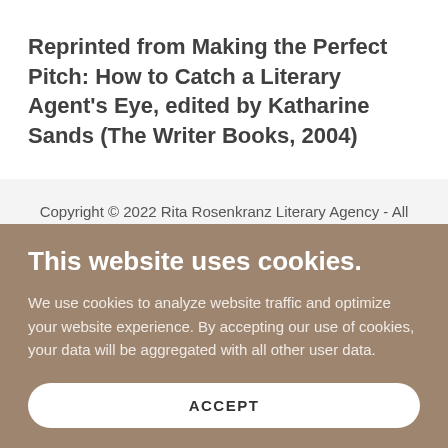Reprinted from Making the Perfect Pitch: How to Catch a Literary Agent's Eye, edited by Katharine Sands (The Writer Books, 2004)
Copyright © 2022 Rita Rosenkranz Literary Agency - All Rights Reserved.
This website uses cookies.
We use cookies to analyze website traffic and optimize your website experience. By accepting our use of cookies, your data will be aggregated with all other user data.